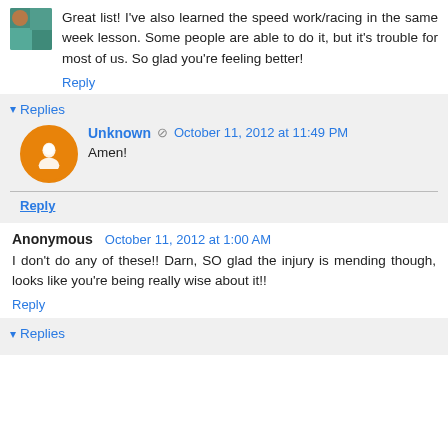Great list! I've also learned the speed work/racing in the same week lesson. Some people are able to do it, but it's trouble for most of us. So glad you're feeling better!
Reply
Replies
Unknown  October 11, 2012 at 11:49 PM
Amen!
Reply
Anonymous  October 11, 2012 at 1:00 AM
I don't do any of these!! Darn, SO glad the injury is mending though, looks like you're being really wise about it!!
Reply
Replies